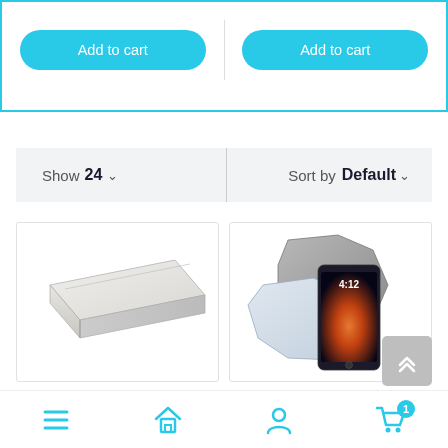[Figure (screenshot): Two 'Add to cart' buttons side by side inside a cyan-bordered container at the top of the page]
Show 24 ∨
Sort by Default ∨
[Figure (photo): Product image: flat white cardboard box/mailer]
[Figure (photo): Product image: octagonal cardboard box open with a smartphone inside showing 4:12]
[Figure (infographic): Bottom navigation bar with hamburger menu, home, user, and cart icons; cart has badge showing 1]